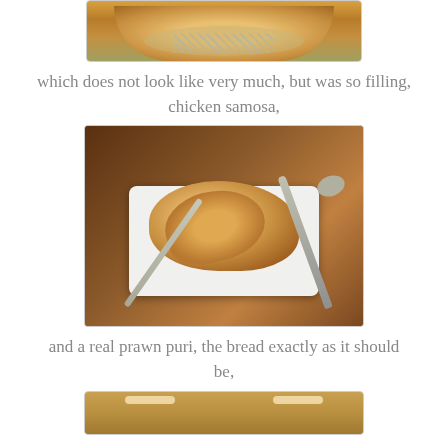[Figure (photo): Top portion of a food photo showing a bowl with shredded ingredients, partially cropped at top of page]
which does not look like very much, but was so filling, chicken samosa,
[Figure (photo): Chicken samosa served on a white plate with fork and spoon, on a dark table]
and a real prawn puri, the bread exactly as it should be,
[Figure (photo): Bottom portion of another food photo, partially visible at bottom of page]